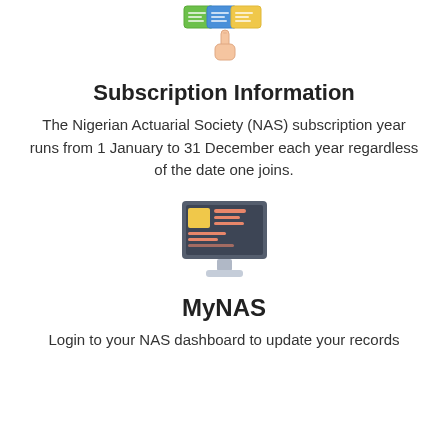[Figure (illustration): Icon of hand clicking on stacked cards/documents with green and blue colors]
Subscription Information
The Nigerian Actuarial Society (NAS) subscription year runs from 1 January to 31 December each year regardless of the date one joins.
[Figure (illustration): Icon of a desktop computer monitor showing a dashboard with yellow block and orange text lines on dark background]
MyNAS
Login to your NAS dashboard to update your records